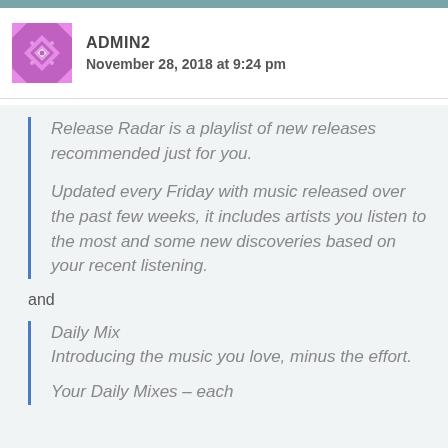[Figure (logo): Pink/magenta geometric diamond pattern avatar icon for ADMIN2]
ADMIN2
November 28, 2018 at 9:24 pm
Release Radar is a playlist of new releases recommended just for you.

Updated every Friday with music released over the past few weeks, it includes artists you listen to the most and some new discoveries based on your recent listening.
and
Daily Mix
Introducing the music you love, minus the effort.

Your Daily Mixes – each